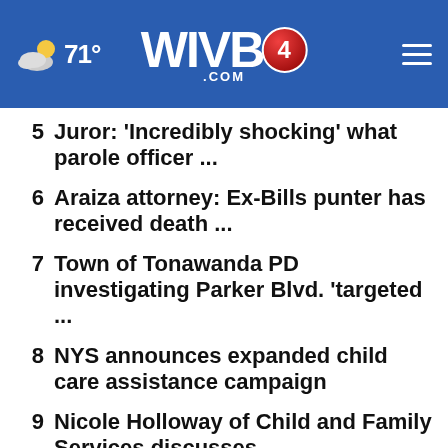WIVB4.COM  71°
5  Juror: 'Incredibly shocking' what parole officer ...
6  Araiza attorney: Ex-Bills punter has received death ...
7  Town of Tonawanda PD investigating Parker Blvd. 'targeted ...
8  NYS announces expanded child care assistance campaign
9  Nicole Holloway of Child and Family Services discusses ...
10  Olean PD searching for 12-year-old missing for more ...